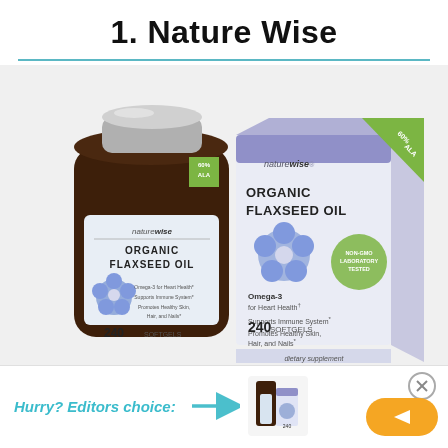1. Nature Wise
[Figure (photo): NatureWise Organic Flaxseed Oil supplement bottle (240 softgels, brown bottle with silver cap and blue/white label) next to its product box (white/blue/purple box with blue flax flower image, text: Organic Flaxseed Oil, 240 Softgels, Omega-3 for Heart Health, Supports Immune System, Promotes Healthy Skin Hair and Nails, 60% ALA green badge, Non-GMO Laboratory Tested badge)]
Hurry? Editors choice: